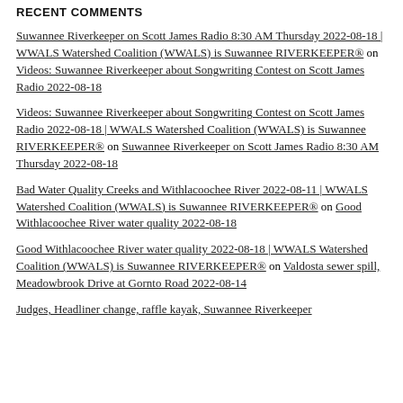RECENT COMMENTS
Suwannee Riverkeeper on Scott James Radio 8:30 AM Thursday 2022-08-18 | WWALS Watershed Coalition (WWALS) is Suwannee RIVERKEEPER® on Videos: Suwannee Riverkeeper about Songwriting Contest on Scott James Radio 2022-08-18
Videos: Suwannee Riverkeeper about Songwriting Contest on Scott James Radio 2022-08-18 | WWALS Watershed Coalition (WWALS) is Suwannee RIVERKEEPER® on Suwannee Riverkeeper on Scott James Radio 8:30 AM Thursday 2022-08-18
Bad Water Quality Creeks and Withlacoochee River 2022-08-11 | WWALS Watershed Coalition (WWALS) is Suwannee RIVERKEEPER® on Good Withlacoochee River water quality 2022-08-18
Good Withlacoochee River water quality 2022-08-18 | WWALS Watershed Coalition (WWALS) is Suwannee RIVERKEEPER® on Valdosta sewer spill, Meadowbrook Drive at Gornto Road 2022-08-14
Judges, Headliner change, raffle kayak, Suwannee Riverkeeper